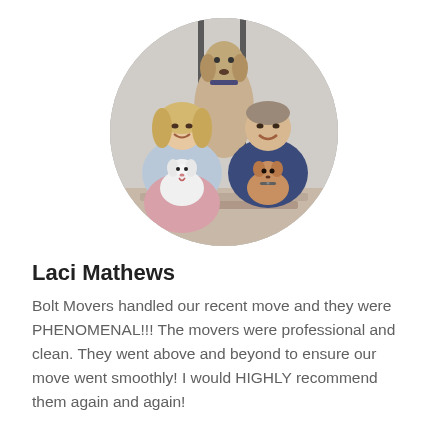[Figure (photo): A couple sitting outdoors near a door, smiling. The woman holds a small white fluffy dog and the man holds a small brown curly dog. Behind them stands a large Great Dane dog. The photo is cropped in an oval shape.]
Laci Mathews
Bolt Movers handled our recent move and they were PHENOMENAL!!! The movers were professional and clean. They went above and beyond to ensure our move went smoothly! I would HIGHLY recommend them again and again!